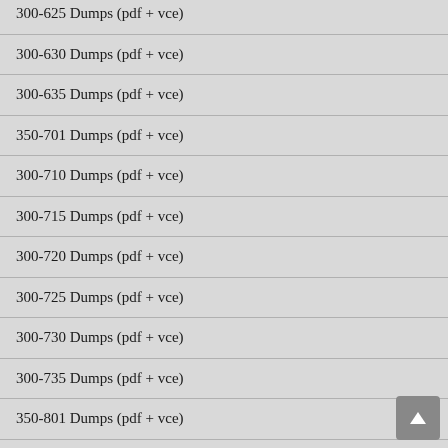300-625 Dumps (pdf + vce)
300-630 Dumps (pdf + vce)
300-635 Dumps (pdf + vce)
350-701 Dumps (pdf + vce)
300-710 Dumps (pdf + vce)
300-715 Dumps (pdf + vce)
300-720 Dumps (pdf + vce)
300-725 Dumps (pdf + vce)
300-730 Dumps (pdf + vce)
300-735 Dumps (pdf + vce)
350-801 Dumps (pdf + vce)
300-810 Dumps (pdf + vce)